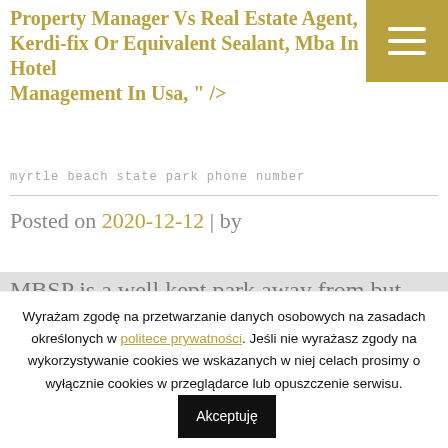Property Manager Vs Real Estate Agent, Kerdi-fix Or Equivalent Sealant, Mba In Hotel Management In Usa, " />
myrtle beach state park phone number
Posted on 2020-12-12 | by
MBSP is a well kept park away from but convienent to, all the amenities of Myrtle
Wyrażam zgodę na przetwarzanie danych osobowych na zasadach określonych w politece prywatności. Jeśli nie wyrażasz zgody na wykorzystywanie cookies we wskazanych w niej celach prosimy o wyłącznie cookies w przeglądarce lub opuszczenie serwisu. Akceptuję